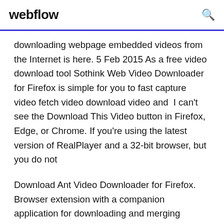webflow
downloading webpage embedded videos from the Internet is here. 5 Feb 2015 As a free video download tool Sothink Web Video Downloader for Firefox is simple for you to fast capture video fetch video download video and  I can't see the Download This Video button in Firefox, Edge, or Chrome. If you're using the latest version of RealPlayer and a 32-bit browser, but you do not
Download Ant Video Downloader for Firefox. Browser extension with a companion application for downloading and merging streaming video segments. Companion